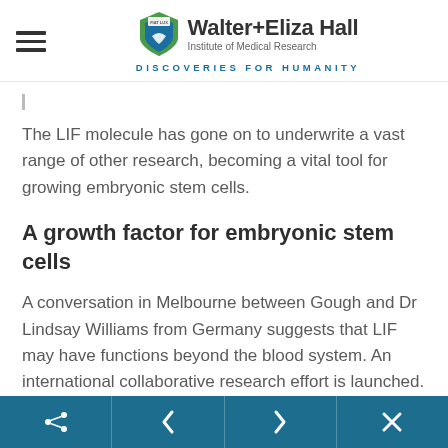Walter+Eliza Hall Institute of Medical Research — DISCOVERIES FOR HUMANITY
The LIF molecule has gone on to underwrite a vast range of other research, becoming a vital tool for growing embryonic stem cells.
A growth factor for embryonic stem cells
A conversation in Melbourne between Gough and Dr Lindsay Williams from Germany suggests that LIF may have functions beyond the blood system. An international collaborative research effort is launched.
Share | < | > | ×